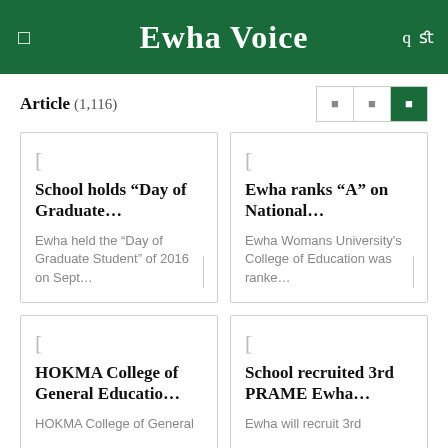Ewha Voice
Article (1,116)
School holds “Day of Graduate…
Ewha held the “Day of Graduate Student” of 2016 on Sept…
Ewha ranks “A” on National…
Ewha Womans University's College of Education was ranke…
HOKMA College of General Educatio…
HOKMA College of General
School recruited 3rd PRAME Ewha…
Ewha will recruit 3rd